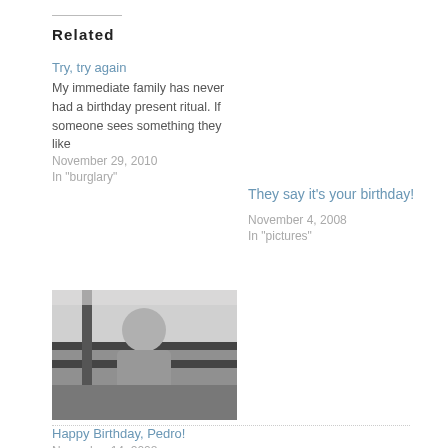Related
Try, try again
My immediate family has never had a birthday present ritual. If someone sees something they like
November 29, 2010
In "burglary"
They say it's your birthday!
November 4, 2008
In "pictures"
[Figure (photo): Black and white photo of a person behind bars or a gridded window]
Happy Birthday, Pedro!
November 14, 2008
Similar post
2 Comments